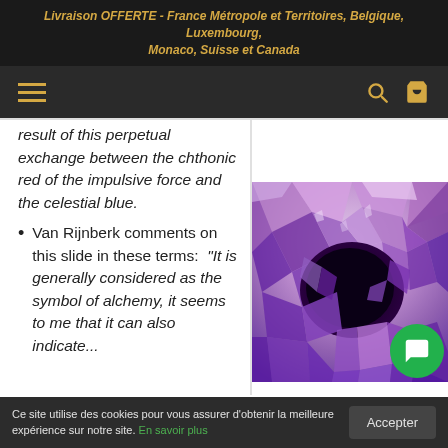Livraison OFFERTE - France Métropole et Territoires, Belgique, Luxembourg, Monaco, Suisse et Canada
result of this perpetual exchange between the chthonic red of the impulsive force and the celestial blue.
Van Rijnberk comments on this slide in these terms: “It is generally considered as the symbol of alchemy, it seems to me that it can also indicate...
[Figure (photo): Close-up photograph of an amethyst geode showing purple crystals surrounding a dark cavity]
Ce site utilise des cookies pour vous assurer d’obtenir la meilleure expérience sur notre site. En savoir plus